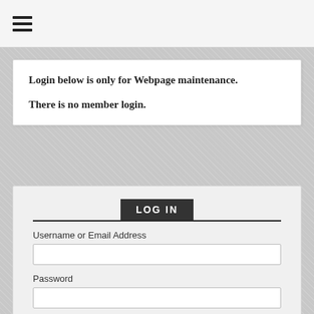[Figure (other): Hamburger menu icon (three horizontal lines)]
Login below is only for Webpage maintenance.

There is no member login.
LOG IN
Username or Email Address
Password
Sign in with Google
Powered by wp-glogin.com